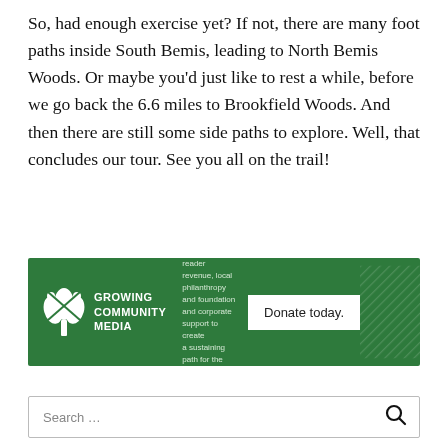So, had enough exercise yet? If not, there are many foot paths inside South Bemis, leading to North Bemis Woods. Or maybe you’d just like to rest a while, before we go back the 6.6 miles to Brookfield Woods. And then there are still some side paths to explore. Well, that concludes our tour. See you all on the trail!
[Figure (other): Growing Community Media advertisement banner with logo, descriptive text about building a blended model of advertising, reader revenue, local philanthropy and foundation and corporate support, and a Donate today button]
Search …